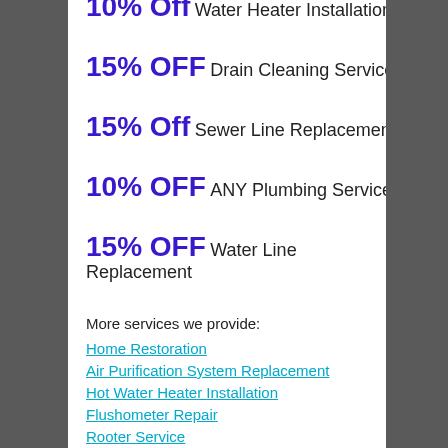10% Off Water Heater Installation
15% OFF Drain Cleaning Service
15% Off Sewer Line Replacement
10% OFF ANY Plumbing Service
15% OFF Water Line Replacement
More services we provide:
Home Restoration
Air Purification System Replacement
Hot Water Heater Installation
Flushometer Repair
Rooter Service